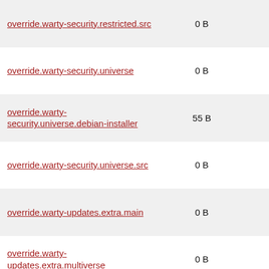| Name | Size | Date |
| --- | --- | --- |
| override.warty-security.restricted.src | 0 B | 2009-10-21 17:35:25 |
| override.warty-security.universe | 0 B | 2009-10-21 17:35:25 |
| override.warty-security.universe.debian-installer | 55 B | 2006-10-11 09:17:29 |
| override.warty-security.universe.src | 0 B | 2009-10-21 17:35:25 |
| override.warty-updates.extra.main | 0 B | 2009-10-21 17:35:25 |
| override.warty-updates.extra.multiverse | 0 B | 2009-10-21 17:35:25 |
| override.warty-updates.extra.restricted | 0 B | 2009-10-21 17:35:25 |
| override.warty-updates.extra.universe | 0 B | 2009-10-21 17:35:25 |